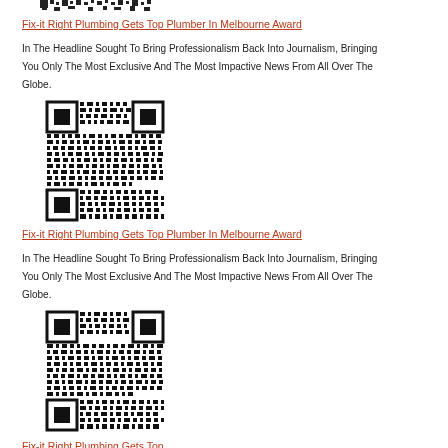[Figure (other): QR code partially visible at top of page]
Fix-it Right Plumbing Gets Top Plumber In Melbourne Award
In The Headline Sought To Bring Professionalism Back Into Journalism, Bringing You Only The Most Exclusive And The Most Impactive News From All Over The Globe.
[Figure (other): QR code square barcode image]
Fix-it Right Plumbing Gets Top Plumber In Melbourne Award
In The Headline Sought To Bring Professionalism Back Into Journalism, Bringing You Only The Most Exclusive And The Most Impactive News From All Over The Globe.
[Figure (other): QR code square barcode image]
Fix-it Right Plumbing Gets Top Plumber In Melbourne Award